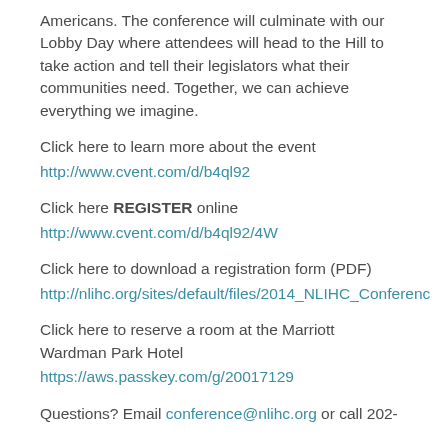Americans. The conference will culminate with our Lobby Day where attendees will head to the Hill to take action and tell their legislators what their communities need. Together, we can achieve everything we imagine.
Click here to learn more about the event
http://www.cvent.com/d/b4ql92
Click here REGISTER online
http://www.cvent.com/d/b4ql92/4W
Click here to download a registration form (PDF)
http://nlihc.org/sites/default/files/2014_NLIHC_Conferenc
Click here to reserve a room at the Marriott Wardman Park Hotel
https://aws.passkey.com/g/20017129
Questions? Email conference@nlihc.org or call 202-